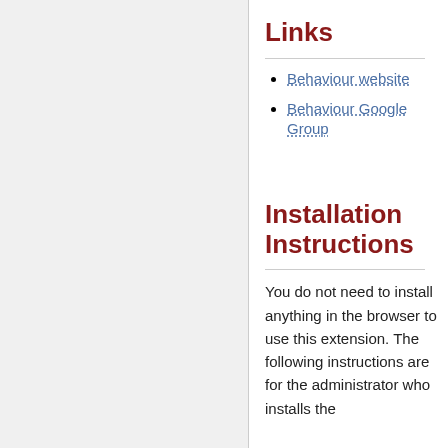Links
Behaviour website
Behaviour Google Group
Installation Instructions
You do not need to install anything in the browser to use this extension. The following instructions are for the administrator who installs the